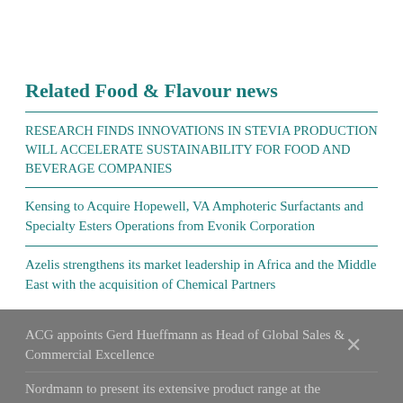Related Food & Flavour news
RESEARCH FINDS INNOVATIONS IN STEVIA PRODUCTION WILL ACCELERATE SUSTAINABILITY FOR FOOD AND BEVERAGE COMPANIES
Kensing to Acquire Hopewell, VA Amphoteric Surfactants and Specialty Esters Operations from Evonik Corporation
Azelis strengthens its market leadership in Africa and the Middle East with the acquisition of Chemical Partners
ACG appoints Gerd Hueffmann as Head of Global Sales & Commercial Excellence
Nordmann to present its extensive product range at the